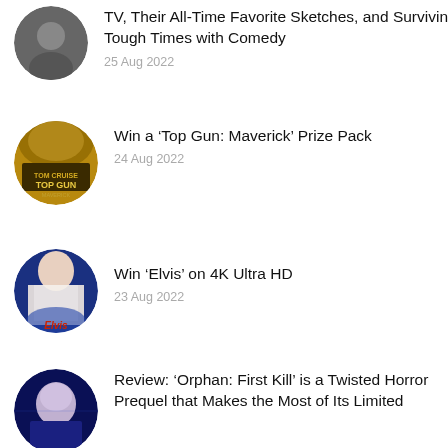TV, Their All-Time Favorite Sketches, and Surviving Tough Times with Comedy
Win a ‘Top Gun: Maverick’ Prize Pack
Win ‘Elvis’ on 4K Ultra HD
Review: ‘Orphan: First Kill’ is a Twisted Horror Prequel that Makes the Most of Its Limited